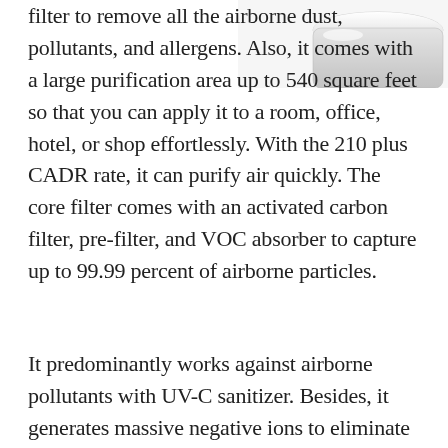[Figure (photo): Partial image of a white air purifier device, showing the top portion against a white background]
filter to remove all the airborne dust, pollutants, and allergens. Also, it comes with a large purification area up to 540 square feet so that you can apply it to a room, office, hotel, or shop effortlessly. With the 210 plus CADR rate, it can purify air quickly. The core filter comes with an activated carbon filter, pre-filter, and VOC absorber to capture up to 99.99 percent of airborne particles.
It predominantly works against airborne pollutants with UV-C sanitizer. Besides, it generates massive negative ions to eliminate